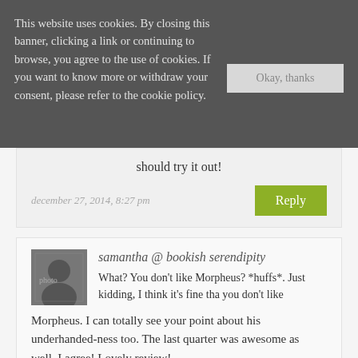This website uses cookies. By closing this banner, clicking a link or continuing to browse, you agree to the use of cookies. If you want to know more or withdraw your consent, please refer to the cookie policy.
Okay, thanks
should try it out!
december 27, 2014, 8:27 pm
Reply
samantha @ bookish serendipity
What? You don't like Morpheus? *huffs*. Just kidding, I think it's fine tha you don't like Morpheus. I can totally see your point about his underhanded-ness too. The last quarter was awesome as well–I agree! Lovely review!